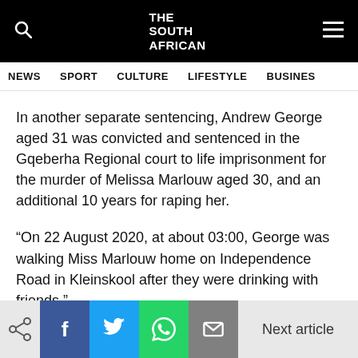THE SOUTH AFRICAN
NEWS   SPORT   CULTURE   LIFESTYLE   BUSINESS
In another separate sentencing, Andrew George aged 31 was convicted and sentenced in the Gqeberha Regional court to life imprisonment for the murder of Melissa Marlouw aged 30, and an additional 10 years for raping her.
“On 22 August 2020, at about 03:00, George was walking Miss Marlouw home on Independence Road in Kleinskool after they were drinking with friends.”
“She was hit over the head with a stone and thereafter
Next article